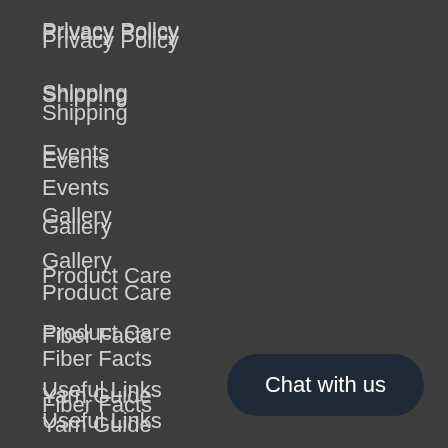Privacy Policy
Shipping
Events
Gallery
Product Care
Fiber Facts
Yarn Guide
Useful Links
Chat with us